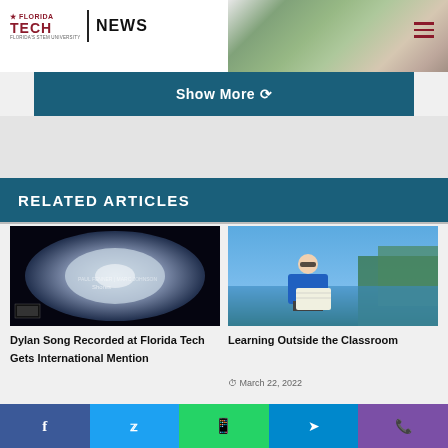FLORIDA TECH NEWS
Show More
RELATED ARTICLES
[Figure (photo): Album cover or aerial/satellite image with dark background and white patterns, possibly a music album cover — text visible including what appears to be an album title]
Dylan Song Recorded at Florida Tech Gets International Mention
[Figure (photo): Student sitting outdoors near water writing in a notebook, wearing a blue t-shirt and sunglasses, green trees in background]
Learning Outside the Classroom
March 22, 2022
Facebook Twitter WhatsApp Telegram Phone